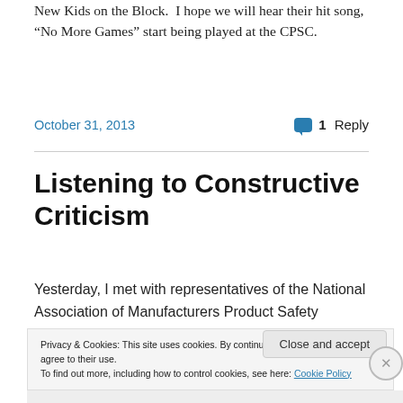New Kids on the Block. I hope we will hear their hit song, “No More Games” start being played at the CPSC.
October 31, 2013 • 1 Reply
Listening to Constructive Criticism
Yesterday, I met with representatives of the National Association of Manufacturers Product Safety Coalition.
Privacy & Cookies: This site uses cookies. By continuing to use this website, you agree to their use.
To find out more, including how to control cookies, see here: Cookie Policy
Close and accept